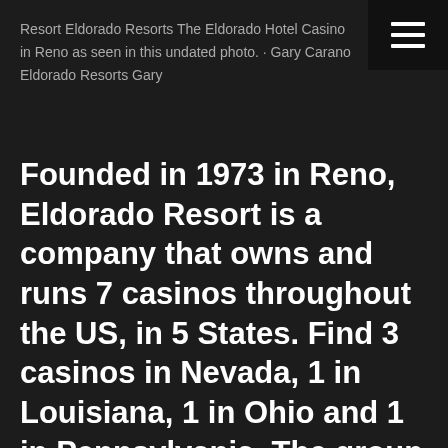Resort Eldorado Resorts The Eldorado Hotel Casino in Reno as seen in this undated photo. · Gary Carano Eldorado Resorts Gary
Founded in 1973 in Reno, Eldorado Resort is a company that owns and runs 7 casinos throughout the US, in 5 States. Find 3 casinos in Nevada, 1 in Louisiana, 1 in Ohio and 1 in Pennsylvania. The group aims to offer a unique gaming experience to its visitors. But also provide